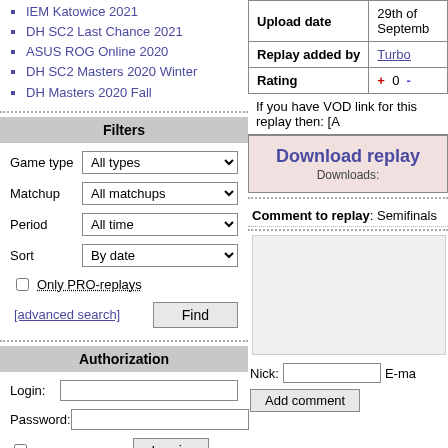IEM Katowice 2021
DH SC2 Last Chance 2021
ASUS ROG Online 2020
DH SC2 Masters 2020 Winter
DH Masters 2020 Fall
Filters
Game type: All types
Matchup: All matchups
Period: All time
Sort: By date
Only PRO-replays
[advanced search] Find
Authorization
Login:
Password:
Remember me  Log in
[Registration] [Forgot password?]
| Upload date | 29th of Septemb... |
| --- | --- |
| Replay added by | Turbo |
| Rating | + 0 - |
If you have VOD link for this replay then: [A...
Download replay
Downloads:
Comment to replay: Semifinals
Nick:  E-ma...
Add comment